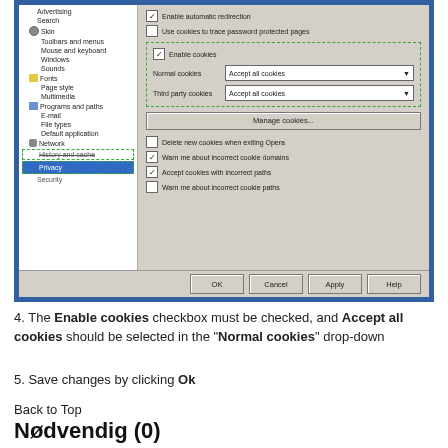[Figure (screenshot): Opera browser preferences dialog showing Privacy settings. Left panel shows menu items including Advertising, Search, Skin, Toolbars and menus, Mouse and keyboard, Windows, Sounds, Fonts, Page style, Multimedia, Programs and paths, E-mail, File types, Default application, Network, History and cache, Privacy (selected/highlighted), Security. Right panel shows cookie settings with checkboxes for Enable automatic redirection, Use cookies to trace password protected pages, Enable cookies (highlighted in green dashed box), Normal cookies dropdown set to Accept all cookies, Third party cookies dropdown set to Accept all cookies, Manage cookies button, Delete new cookies when exiting Opera, Warn me about incorrect cookie domains, Accept cookies with incorrect paths, Warn me about incorrect cookie paths. Bottom has OK, Cancel, Apply, Help buttons.]
4. The Enable cookies checkbox must be checked, and Accept all cookies should be selected in the "Normal cookies" drop-down
5. Save changes by clicking Ok
Back to Top
Nødvendig (0)
Nødvendige cookies hjælper med at gøre en